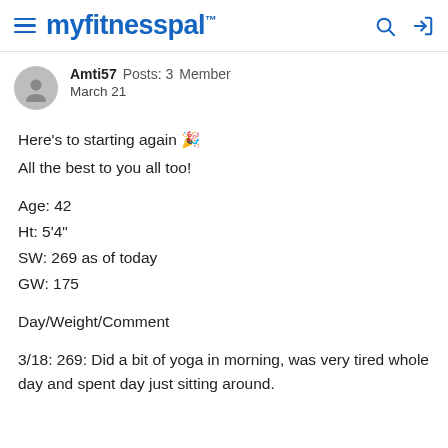myfitnesspal
Amti57  Posts: 3  Member
March 21
Here's to starting again 🎉
All the best to you all too!

Age: 42
Ht: 5'4"
SW: 269 as of today
GW: 175

Day/Weight/Comment

3/18: 269: Did a bit of yoga in morning, was very tired whole day and spent day just sitting around.